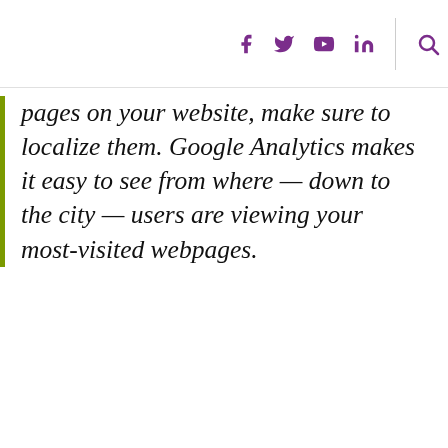Social media icons and search (navigation bar)
pages on your website, make sure to localize them. Google Analytics makes it easy to see from where — down to the city — users are viewing your most-visited webpages.
[Figure (screenshot): Google Analytics interface showing Audience menu expanded with options: Overview, Active Users, Lifetime Value (BETA), Cohort Analysis, Audiences (selected/highlighted), User Explorer, Demographics, Interests, Geo, Behavior, Technology, Mobile, Cross Device (BETA), Custom. On the right panel a line chart showing Users metric with value around 1,000. Below shows Primary Dimension: Audience, with Secondary dimension dropdown open showing City (ID) option and a list including Recommended - Users section with Affinity Category (reach), Age, Browser, Browser Size options.]